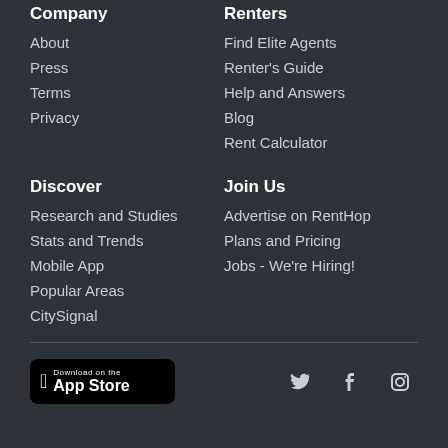Company
About
Press
Terms
Privacy
Renters
Find Elite Agents
Renter's Guide
Help and Answers
Blog
Rent Calculator
Discover
Research and Studies
Stats and Trends
Mobile App
Popular Areas
CitySignal
Join Us
Advertise on RentHop
Plans and Pricing
Jobs - We're Hiring!
[Figure (logo): Download on the App Store button with Apple logo]
[Figure (logo): Twitter, Facebook, and Instagram social media icons]